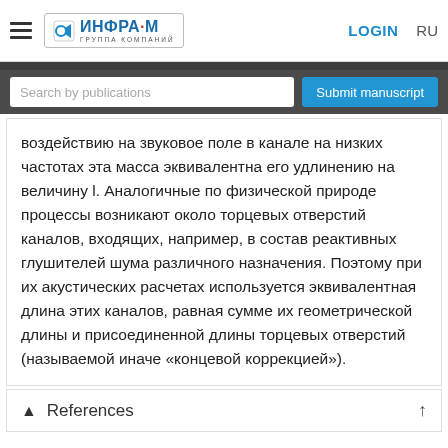ИНФРА·М — ГРУППА КОМПАНИЙ | LOGIN | RU
воздействию на звуковое поле в канале на низких частотах эта масса эквивалентна его удлинению на величину l. Аналогичные по физической природе процессы возникают около торцевых отверстий каналов, входящих, например, в состав реактивных глушителей шума различного назначения. Поэтому при их акустических расчетах используется эквивалентная длина этих каналов, равная сумме их геометрической длины и присоединенной длины торцевых отверстий (называемой иначе «концевой коррекцией»).
References